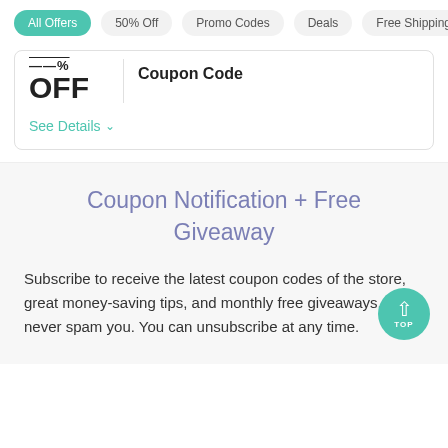All Offers  50% Off  Promo Codes  Deals  Free Shipping
OFF  Coupon Code
See Details
Coupon Notification + Free Giveaway
Subscribe to receive the latest coupon codes of the store, great money-saving tips, and monthly free giveaways. We'll never spam you. You can unsubscribe at any time.